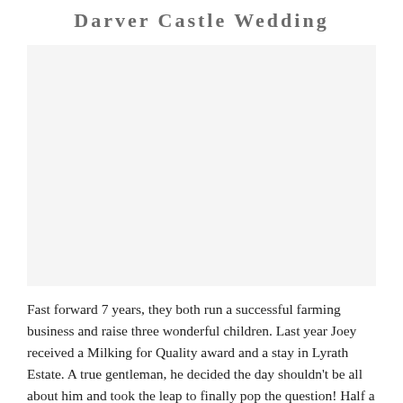Darver Castle Wedding
[Figure (photo): Wedding photo area, appears blank/white in this page crop]
Fast forward 7 years, they both run a successful farming business and raise three wonderful children. Last year Joey received a Milking for Quality award and a stay in Lyrath Estate. A true gentleman, he decided the day shouldn't be all about him and took the leap to finally pop the question! Half a pack of